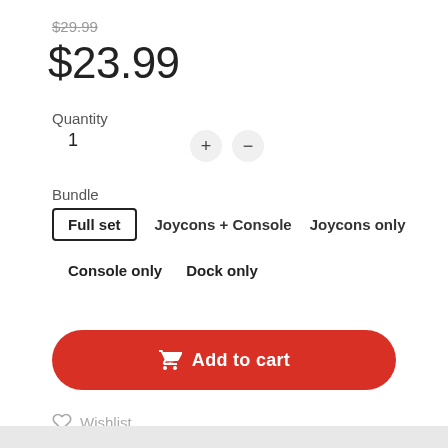$29.99 (strikethrough)
$23.99
Quantity
1
Bundle
Full set   Joycons + Console   Joycons only   Console only   Dock only
Add to cart
Wishlist